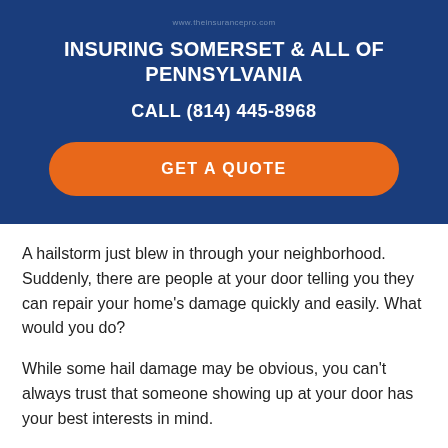www.theinsurancepro.com
INSURING SOMERSET & ALL OF PENNSYLVANIA
CALL (814) 445-8968
GET A QUOTE
A hailstorm just blew in through your neighborhood. Suddenly, there are people at your door telling you they can repair your home's damage quickly and easily. What would you do?
While some hail damage may be obvious, you can't always trust that someone showing up at your door has your best interests in mind.